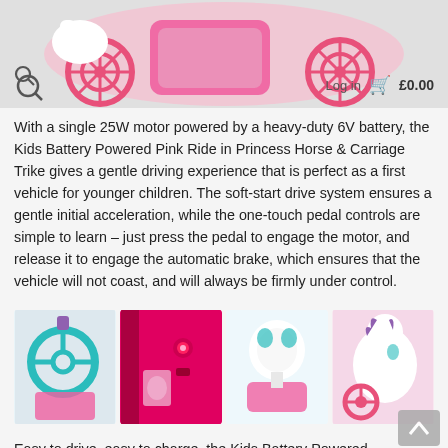[Figure (photo): Website header showing a pink princess horse and carriage ride-on toy product image, with a search icon on the left and login/cart navigation on the right showing £0.00]
With a single 25W motor powered by a heavy-duty 6V battery, the Kids Battery Powered Pink Ride in Princess Horse & Carriage Trike gives a gentle driving experience that is perfect as a first vehicle for younger children. The soft-start drive system ensures a gentle initial acceleration, while the one-touch pedal controls are simple to learn – just press the pedal to engage the motor, and release it to engage the automatic brake, which ensures that the vehicle will not coast, and will always be firmly under control.
[Figure (photo): Four product detail photos showing: steering wheel with teal ring, pink body panel with power button, seat/frame close-up, and white unicorn horse figure with pink wheels]
Easy to drive, easy to charge, the Kids Battery Powered Pink Ride in Princess Horse & Carriage Trike comes complete with battery, charger, and everything you need right in the box to make sure you don't miss out on this enchantingly unique